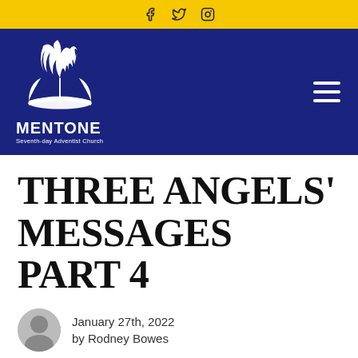[Figure (other): Social media icons bar (Facebook, Twitter, Instagram) on yellow background]
[Figure (logo): Mentone Seventh-day Adventist Church logo on navy blue background with hamburger menu icon]
THREE ANGELS' MESSAGES PART 4
January 27th, 2022
by Rodney Bowes